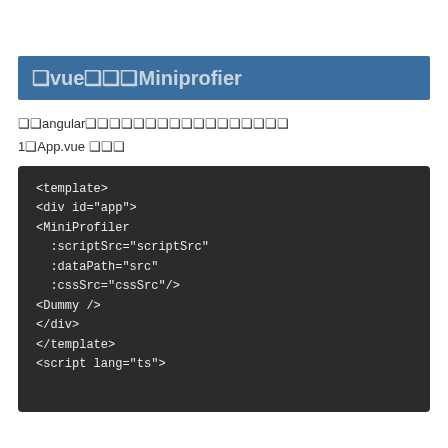❑vue❑❑❑Miniprofier
❑❑angular❑❑❑❑❑❑❑❑❑❑❑❑❑❑❑❑❑
1❑App.vue ❑❑❑
[Figure (screenshot): Code block showing Vue template with MiniProfiler component usage including :scriptSrc, :dataPath, :cssSrc bindings, a Dummy component, closing div and template tags, and script lang=ts tag]